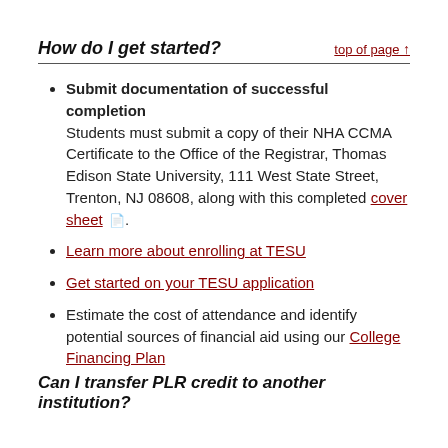How do I get started?
Submit documentation of successful completion Students must submit a copy of their NHA CCMA Certificate to the Office of the Registrar, Thomas Edison State University, 111 West State Street, Trenton, NJ 08608, along with this completed cover sheet.
Learn more about enrolling at TESU
Get started on your TESU application
Estimate the cost of attendance and identify potential sources of financial aid using our College Financing Plan
Can I transfer PLR credit to another institution?